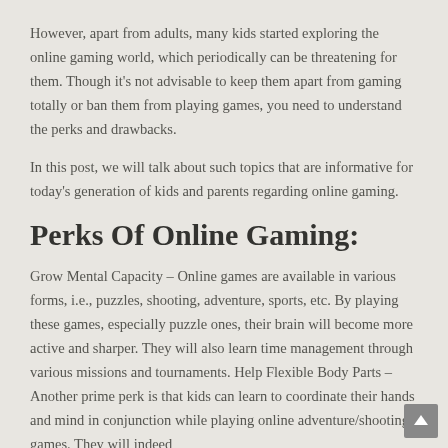However, apart from adults, many kids started exploring the online gaming world, which periodically can be threatening for them. Though it's not advisable to keep them apart from gaming totally or ban them from playing games, you need to understand the perks and drawbacks.
In this post, we will talk about such topics that are informative for today's generation of kids and parents regarding online gaming.
Perks Of Online Gaming:
Grow Mental Capacity – Online games are available in various forms, i.e., puzzles, shooting, adventure, sports, etc. By playing these games, especially puzzle ones, their brain will become more active and sharper. They will also learn time management through various missions and tournaments. Help Flexible Body Parts – Another prime perk is that kids can learn to coordinate their hands and mind in conjunction while playing online adventure/shooting games. They will indeed